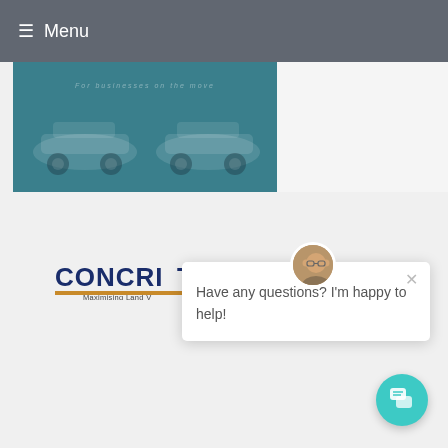☰ Menu
[Figure (screenshot): Teal colored banner image showing car silhouettes and italicized text 'For businesses on the move']
[Figure (logo): CONCRITE logo with orange underline and tagline 'Maximising Land V...' (partially obscured)]
[Figure (screenshot): Chat popup widget with avatar photo of a man, close X button, and message 'Have any questions? I'm happy to help!' with teal chat button in bottom right corner]